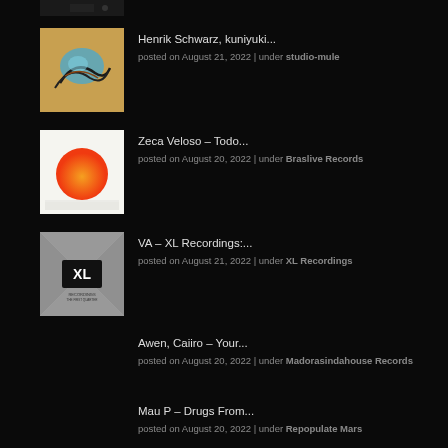[Figure (photo): Partial album art thumbnail at top, dark image with small logo]
[Figure (photo): Album art for Henrik Schwarz, kuniyuki... - colorful abstract painting on golden background]
Henrik Schwarz, kuniyuki...
posted on August 21, 2022 | under studio-mule
[Figure (photo): Album art for Zeca Veloso - Todo... - white background with large orange gradient circle]
Zeca Veloso – Todo...
posted on August 20, 2022 | under Braslive Records
[Figure (photo): Album art for VA - XL Recordings:... - grey cover with large X shape and XL logo]
VA – XL Recordings:...
posted on August 21, 2022 | under XL Recordings
Awen, Caiiro – Your...
posted on August 20, 2022 | under Madorasindahouse Records
Mau P – Drugs From...
posted on August 20, 2022 | under Repopulate Mars